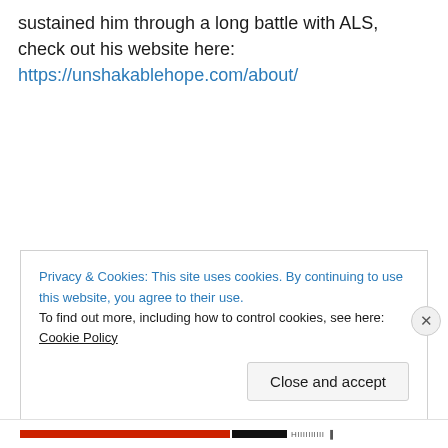sustained him through a long battle with ALS, check out his website here: https://unshakablehope.com/about/
Privacy & Cookies: This site uses cookies. By continuing to use this website, you agree to their use.
To find out more, including how to control cookies, see here: Cookie Policy